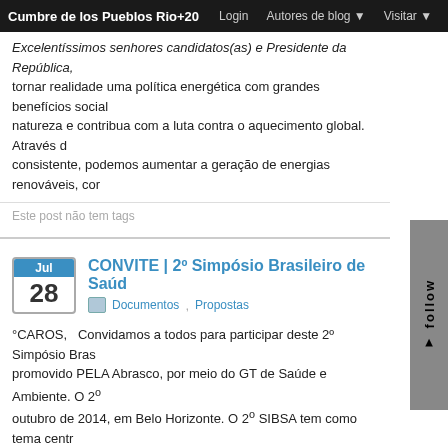Cumbre de los Pueblos Rio+20 | Login | Autores de blog | Visitar
Excelentíssimos senhores candidatos(as) e Presidente da República, tornar realidade uma política energética com grandes benefícios sociar... natureza e contribua com a luta contra o aquecimento global. Através d... consistente, podemos aumentar a geração de energias renováveis, cor...
Este post não tem tags
CONVITE | 2º Simpósio Brasileiro de Saúd...
Documentos, Propostas
°CAROS,   Convidamos a todos para participar deste 2º Simpósio Bras... promovido PELA Abrasco, por meio do GT de Saúde e Ambiente. O 2º outubro de 2014, em Belo Horizonte. O 2º SIBSA tem como tema centr... Territoriais e Saúde: Ciência e …
Este post não tem tags